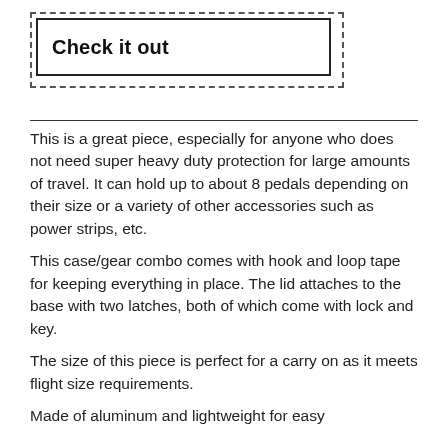Check it out
This is a great piece, especially for anyone who does not need super heavy duty protection for large amounts of travel. It can hold up to about 8 pedals depending on their size or a variety of other accessories such as power strips, etc.
This case/gear combo comes with hook and loop tape for keeping everything in place. The lid attaches to the base with two latches, both of which come with lock and key.
The size of this piece is perfect for a carry on as it meets flight size requirements.
Made of aluminum and lightweight for easy